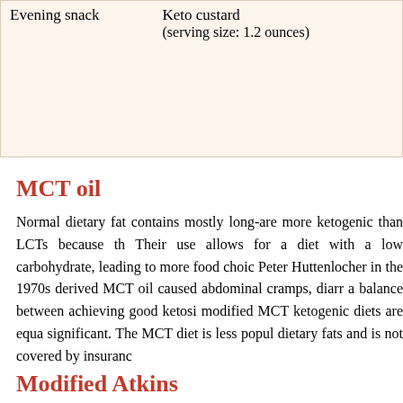| Meal | Food |
| --- | --- |
| Evening snack | Keto custard
(serving size: 1.2 ounces) |
MCT oil
Normal dietary fat contains mostly long-chain are more ketogenic than LCTs because th Their use allows for a diet with a low carbohydrate, leading to more food choice Peter Huttenlocher in the 1970s derived MCT oil caused abdominal cramps, diarrh a balance between achieving good ketosi modified MCT ketogenic diets are equa significant. The MCT diet is less popula dietary fats and is not covered by insurance
Modified Atkins